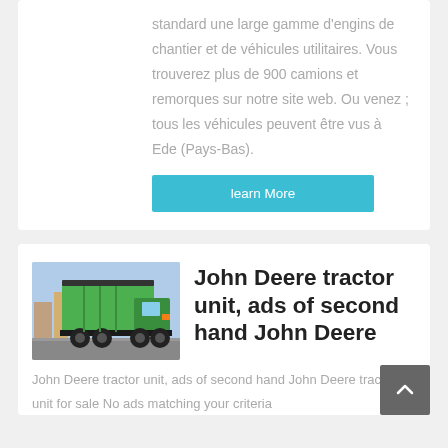standard une large gamme d'engins de chantier et de véhicules utilitaires. Vous trouverez plus de 900 camions et remorques sur notre site web. Ou venez ; tous les véhicules peuvent être vus à Ede (Pays-Bas).
learn More
[Figure (photo): A green dump truck photographed outdoors in a parking or road area.]
John Deere tractor unit, ads of second hand John Deere
John Deere tractor unit, ads of second hand John Deere tractor unit for sale No ads matching your criteria